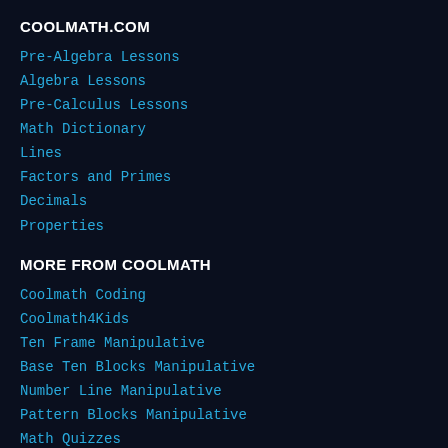COOLMATH.COM
Pre-Algebra Lessons
Algebra Lessons
Pre-Calculus Lessons
Math Dictionary
Lines
Factors and Primes
Decimals
Properties
MORE FROM COOLMATH
Coolmath Coding
Coolmath4Kids
Ten Frame Manipulative
Base Ten Blocks Manipulative
Number Line Manipulative
Pattern Blocks Manipulative
Math Quizzes
Coolmath4Teachers
Coolmath4Parents
FOLLOW US
TikTok